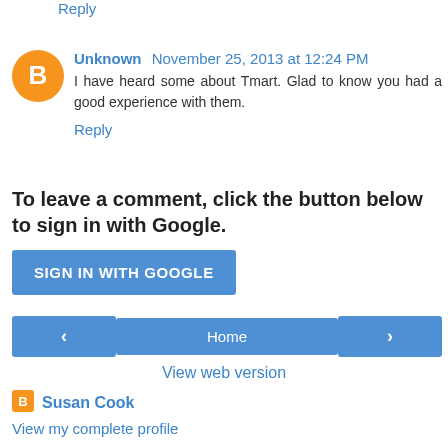Reply
Unknown November 25, 2013 at 12:24 PM
I have heard some about Tmart. Glad to know you had a good experience with them.
Reply
To leave a comment, click the button below to sign in with Google.
[Figure (other): Blue 'SIGN IN WITH GOOGLE' button]
[Figure (other): Navigation buttons: left arrow, Home, right arrow]
View web version
Susan Cook
View my complete profile